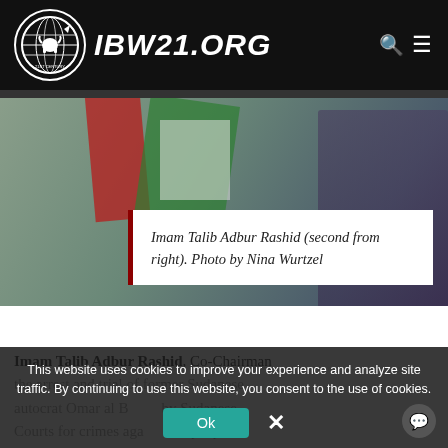IBW21.ORG
[Figure (photo): Photograph of people at a table, partially visible, with green and red flag elements visible. Shows Imam Talib Adbur Rashid second from right.]
Imam Talib Adbur Rashid (second from right). Photo by Nina Wurtzel
Imam Talib Adbur Rashid, Co-Chairman the arrest and trial of former Sudanese autocrat Omar al Bashir by Sudanese Courts for crimes against the people of
This website uses cookies to improve your experience and analyze site traffic. By continuing to use this website, you consent to the use of cookies.